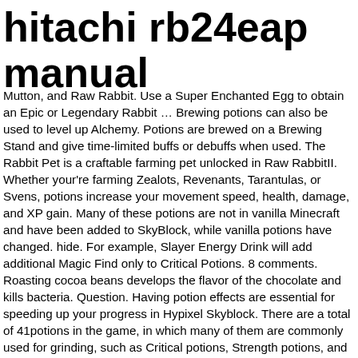hitachi rb24eap manual
Mutton, and Raw Rabbit. Use a Super Enchanted Egg to obtain an Epic or Legendary Rabbit … Brewing potions can also be used to level up Alchemy. Potions are brewed on a Brewing Stand and give time-limited buffs or debuffs when used. The Rabbit Pet is a craftable farming pet unlocked in Raw RabbitII. Whether your're farming Zealots, Revenants, Tarantulas, or Svens, potions increase your movement speed, health, damage, and XP gain. Many of these potions are not in vanilla Minecraft and have been added to SkyBlock, while vanilla potions have changed. hide. For example, Slayer Energy Drink will add additional Magic Find only to Critical Potions. 8 comments. Roasting cocoa beans develops the flavor of the chocolate and kills bacteria. Question. Having potion effects are essential for speeding up your progress in Hypixel Skyblock. There are a total of 41potions in the game, in which many of them are commonly used for grinding, such as Critical potions, Strength potions, and more! Potions. At Quest Step 10, you need to get a tuxedo in Taylor's basement, costing 3 million to 75 million coins (or buy each part from the Auction House); note that the tuxedo is not consumed by the quest. Items can be shift-clicked in and out of the brewing stand. Hypixel Skyblock Spreadsheet A spreadsheet with information about different weapons, armor, reforges and more. 91% Upvoted. A Chees